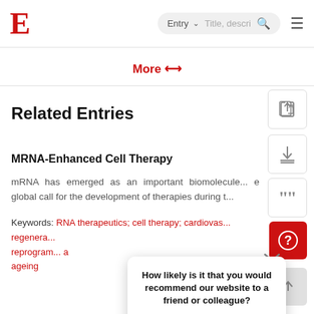E  Entry  Title, descri...  ≡
More ≫
Related Entries
MRNA-Enhanced Cell Therapy
mRNA has emerged as an important biomolecule... e global call for the development of therapies during t...
Keywords: RNA therapeutics; cell therapy; cardiovas... regenera... reprogram... a ageing
How likely is it that you would recommend our website to a friend or colleague?